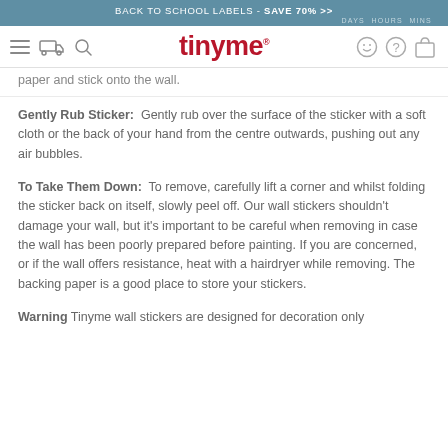BACK TO SCHOOL LABELS - SAVE 70% >>   DAYS  HOURS  MINS
tinyme [navbar with icons]
paper and stick onto the wall.
Gently Rub Sticker:  Gently rub over the surface of the sticker with a soft cloth or the back of your hand from the centre outwards, pushing out any air bubbles.
To Take Them Down:  To remove, carefully lift a corner and whilst folding the sticker back on itself, slowly peel off. Our wall stickers shouldn't damage your wall, but it's important to be careful when removing in case the wall has been poorly prepared before painting. If you are concerned, or if the wall offers resistance, heat with a hairdryer while removing. The backing paper is a good place to store your stickers.
Warning Tinyme wall stickers are designed for decoration only